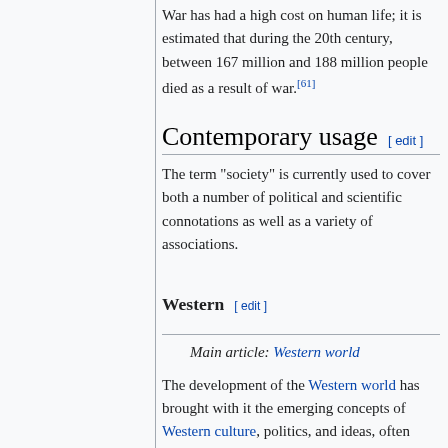War has had a high cost on human life; it is estimated that during the 20th century, between 167 million and 188 million people died as a result of war.[61]
Contemporary usage [edit]
The term "society" is currently used to cover both a number of political and scientific connotations as well as a variety of associations.
Western [edit]
Main article: Western world
The development of the Western world has brought with it the emerging concepts of Western culture, politics, and ideas, often referred to simply as "Western society". Geographically, it covers at the very least the countries of Western Europe, North America